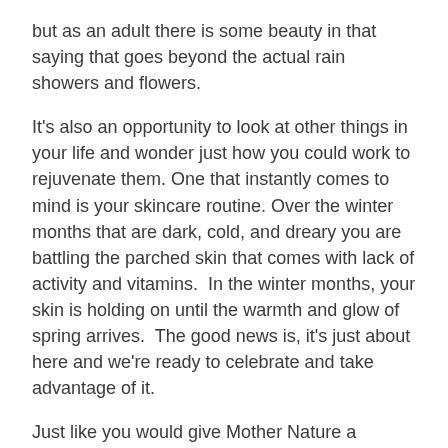but as an adult there is some beauty in that saying that goes beyond the actual rain showers and flowers.
It's also an opportunity to look at other things in your life and wonder just how you could work to rejuvenate them. One that instantly comes to mind is your skincare routine. Over the winter months that are dark, cold, and dreary you are battling the parched skin that comes with lack of activity and vitamins. In the winter months, your skin is holding on until the warmth and glow of spring arrives. The good news is, it's just about here and we're ready to celebrate and take advantage of it.
Just like you would give Mother Nature a helping hand by fertilizing your flowers so you get beautiful blossoms at the start of May, so too should you give Mother Nature a helping hand when she works to bounce your skin back from the winter months. You can do this with two very s[fr | USD dropdown]om the Earthen Skincare collection that will g[covered text]and glowing skin just as the first blooms of spring peek through the ground.